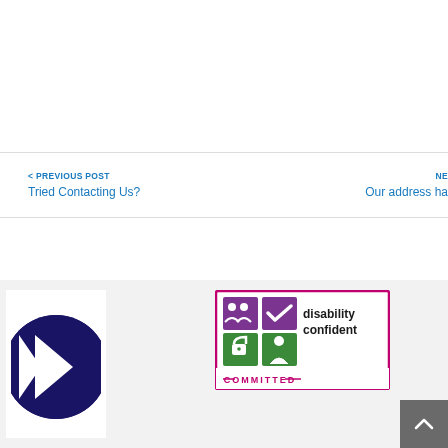< PREVIOUS POST
Tried Contacting Us?
NE
Our address ha
[Figure (logo): Dark navy blue circular logo with a right-pointing chevron/arrow shape in the center]
[Figure (logo): Disability Confident Committed badge with four colored squares showing icons and text reading 'disability confident COMMITTED']